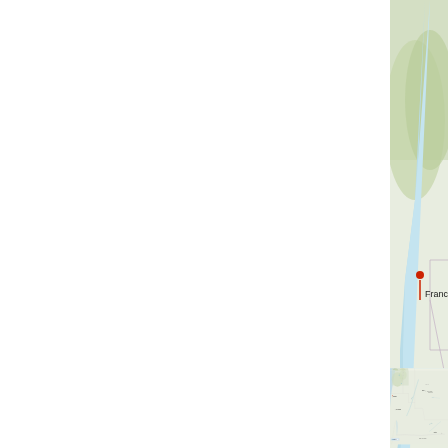[Figure (map): Geographic map showing western United States including San Francisco, Los Angeles, Denver, Colorado River, Rio Grande, and northern Mexico including Monterrey. Also shows labels: GREAT (Basin/Plains), UNITED STATES, MOUNTAINS (partially visible), Arkansas river label, MEXICO. Scale bar showing 500 km. Map has light green terrain shading with blue water bodies and light blue ocean/gulf areas. A red marker pin is visible near San Francisco.]
Map
[Figure (map): Partial map showing Idaho and Oregon/Washington state borders with light green shading, beginning of another map view below the Map section header.]